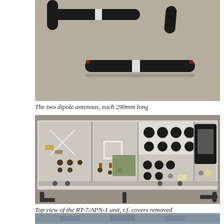[Figure (photo): Two black dipole antennas each 290mm long, photographed on a grey surface from above, showing the T-shaped antenna elements]
The two dipole antennas, each 290mm long
[Figure (photo): Top view of the RT-7/APN-1 radio unit with r.f. covers removed, showing internal electronic components, transistors, capacitors, and circuit boards inside a metal chassis]
Top view of the RT-7/APN-1 unit, r.f. covers removed
[Figure (photo): Partial view of an aircraft on the ground, showing fuselage details]